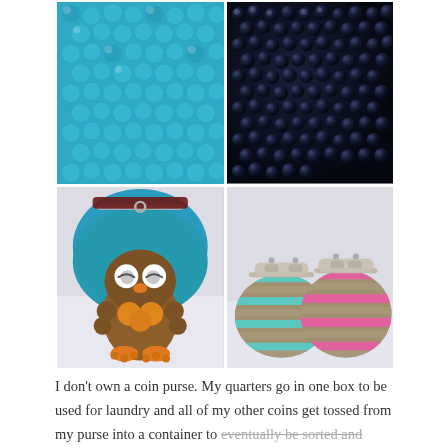[Figure (photo): A 2x2 photo collage of crochet coin purses and yarn materials. Top-left: close-up of turquoise/teal bobble crochet texture. Top-right: close-up of dark navy blue beads or buttons on a crocheted background. Bottom-left: an owl-shaped coin purse with metal clasp, brown crocheted body with orange beak and feet, sleepy eyes, in front of a teal bowl. Bottom-right: two round striped crochet coin purses with metal kiss-lock clasps, one turquoise/tan striped, one pink/tan striped.]
I don't own a coin purse. My quarters go in one box to be used for laundry and all of my other coins get tossed from my purse into a container to eventually be sorted and turned into cash. But I have to confess that the many super cute crochet coin purses I've seen online in the last year or so are really doing it for me in a way...